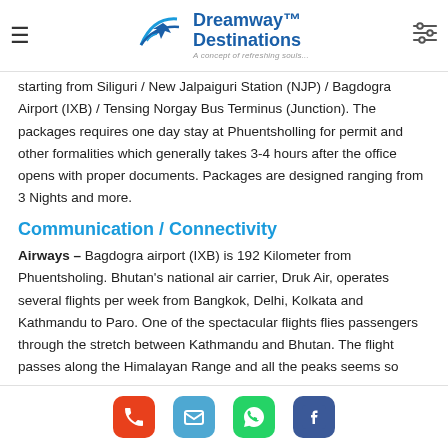Dreamway Destinations — A concept of refreshing souls...
starting from Siliguri / New Jalpaiguri Station (NJP) / Bagdogra Airport (IXB) / Tensing Norgay Bus Terminus (Junction). The packages requires one day stay at Phuentsholling for permit and other formalities which generally takes 3-4 hours after the office opens with proper documents. Packages are designed ranging from 3 Nights and more.
Communication / Connectivity
Airways – Bagdogra airport (IXB) is 192 Kilometer from Phuentsholing. Bhutan's national air carrier, Druk Air, operates several flights per week from Bangkok, Delhi, Kolkata and Kathmandu to Paro. One of the spectacular flights flies passengers through the stretch between Kathmandu and Bhutan. The flight passes along the Himalayan Range and all the peaks seems so close to eyes, it's a flight to cherish. Recent addition is the flight from Paro to Bagdogra airport, suppose to be operational from March 2009. It
Phone | Email | WhatsApp | Facebook